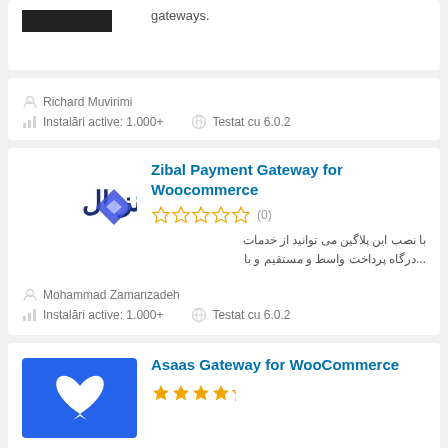[Figure (logo): Partial plugin logo (black rectangle) at top left]
gateways.
Richard Muvirimi
Instalări active: 1.000+
Testat cu 6.0.2
Zibal Payment Gateway for Woocommerce
[Figure (logo): Zibal logo with Persian text and blue diamond shape]
[Figure (other): 5 empty star rating icons]
(0)
با نصب این پلاگین می توانید از خدمات درگاه پرداخت واسط و مستقیم و با...
Mohammad Zamanzadeh
Instalări active: 1.000+
Testat cu 6.0.2
Asaas Gateway for WooCommerce
[Figure (logo): Asaas blue logo with white wing/bird shape]